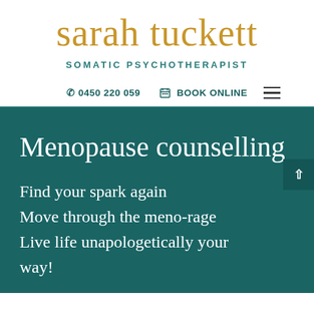sarah tuckett
SOMATIC PSYCHOTHERAPIST
0450 220 059   BOOK ONLINE
Menopause counselling
Find your spark again
Move through the meno-rage
Live life unapologetically your way!